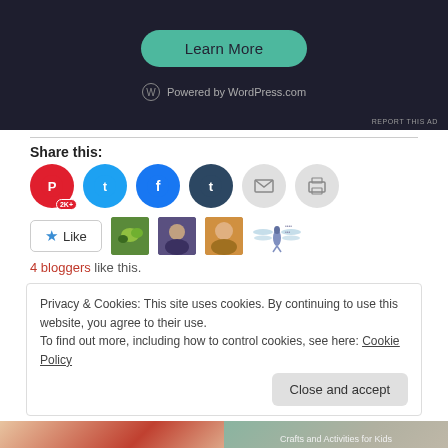[Figure (screenshot): Dark banner ad with a teal 'Learn More' button and 'Powered by WordPress.com' text at the bottom]
REPORT THIS AD
Share this:
[Figure (infographic): Row of social share icons: Pinterest (2K+), Twitter, Facebook, Tumblr, Email, Print]
[Figure (infographic): Like button with star icon and 4 blogger avatar thumbnails]
4 bloggers like this.
Privacy & Cookies: This site uses cookies. By continuing to use this website, you agree to their use.
To find out more, including how to control cookies, see here: Cookie Policy
Close and accept
[Figure (photo): Two thumbnail images at the bottom of the page]